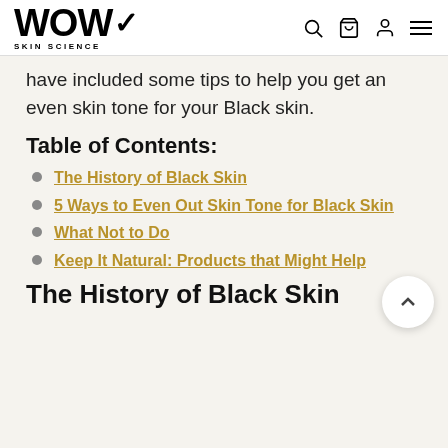WOW SKIN SCIENCE
have included some tips to help you get an even skin tone for your Black skin.
Table of Contents:
The History of Black Skin
5 Ways to Even Out Skin Tone for Black Skin
What Not to Do
Keep It Natural: Products that Might Help
The History of Black Skin